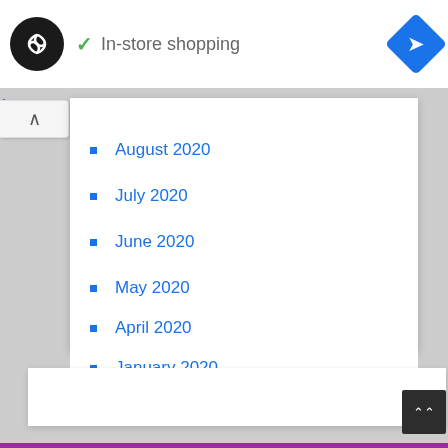[Figure (screenshot): Screenshot of a web browser interface showing a logo circle with white infinity-like symbol on black background]
✓ In-store shopping
[Figure (logo): Blue diamond navigation arrow icon]
September 2020 (truncated/partially visible)
August 2020
July 2020
June 2020
May 2020
April 2020
January 2020
December 2019